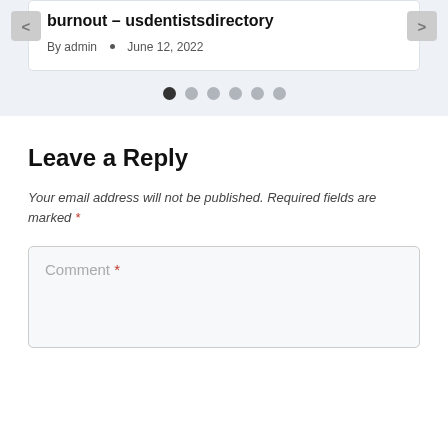burnout – usdentistsdirectory
By admin • June 12, 2022
[Figure (other): Carousel navigation dots with left and right arrow buttons]
Leave a Reply
Your email address will not be published. Required fields are marked *
Comment *